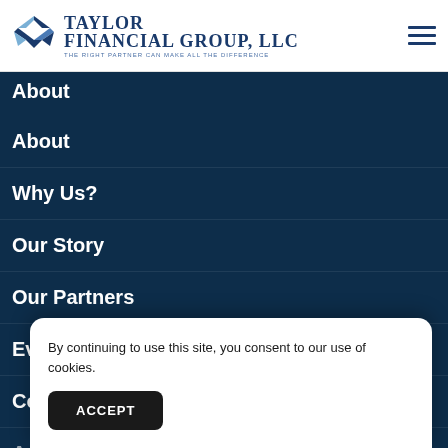[Figure (logo): Taylor Financial Group, LLC logo with geometric diamond/chevron mark in blue and white, with text 'TAYLOR FINANCIAL GROUP, LLC' and tagline 'THE RIGHT PARTNER CAN MAKE ALL THE DIFFERENCE']
About
About
Why Us?
Our Story
Our Partners
Events
Community Support
Ac
Li
By continuing to use this site, you consent to our use of cookies.
ACCEPT